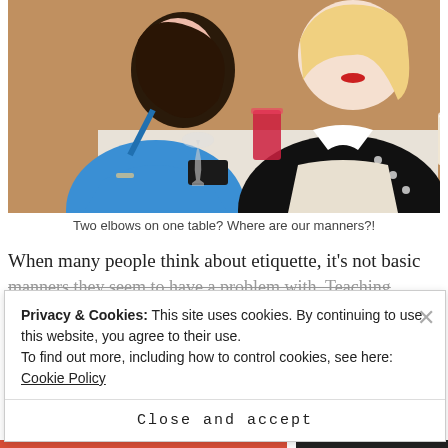[Figure (photo): Two women sitting at a restaurant table. One wears a blue floral dress, the other a black polka-dot dress with a white apron-style skirt. There are drinks, glasses and a phone on the table.]
Two elbows on one table? Where are our manners?!
When many people think about etiquette, it's not basic manners they seem to have a problem with. Teaching...
Privacy & Cookies: This site uses cookies. By continuing to use this website, you agree to their use.
To find out more, including how to control cookies, see here: Cookie Policy
Close and accept